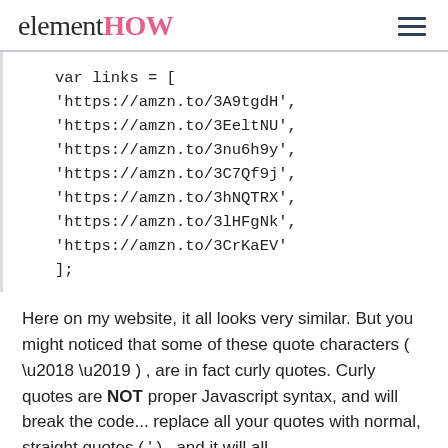elementHOW
var links = [
'https://amzn.to/3A9tgdH',
'https://amzn.to/3EeltNU',
'https://amzn.to/3nu6h9y',
'https://amzn.to/3C7Qf9j',
'https://amzn.to/3hNQTRX',
'https://amzn.to/3lHFgNk',
'https://amzn.to/3CrKaEV'
];
Here on my website, it all looks very similar. But you might noticed that some of these quote characters ( ‘ ’ ) , are in fact curly quotes. Curly quotes are NOT proper Javascript syntax, and will break the code... replace all your quotes with normal, straight quotes ( ' ) , and it will all